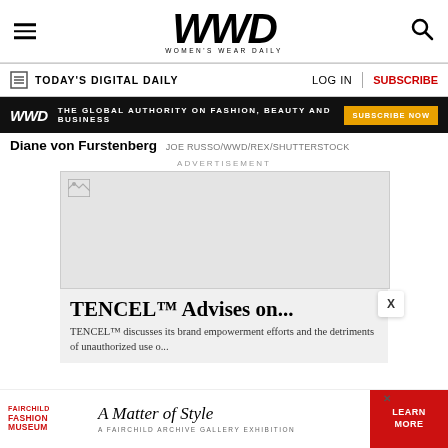WWD — Women's Wear Daily
TODAY'S DIGITAL DAILY  LOG IN  SUBSCRIBE
[Figure (infographic): WWD banner: THE GLOBAL AUTHORITY ON FASHION, BEAUTY AND BUSINESS — SUBSCRIBE NOW]
Diane von Furstenberg  JOE RUSSO/WWD/REX/SHUTTERSTOCK
ADVERTISEMENT
[Figure (photo): Advertisement placeholder with broken image icon]
TENCEL™ Advises on...
TENCEL™ discusses its brand empowerment efforts and the detriments of unauthorized use o...
[Figure (infographic): Bottom banner: Fairchild Fashion Museum — A Matter of Style — A Fairchild Archive Gallery Exhibition — LEARN MORE]